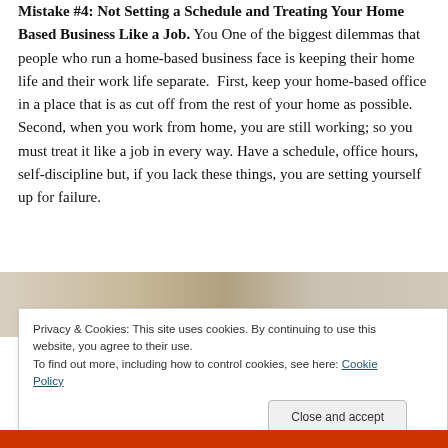Mistake #4: Not Setting a Schedule and Treating Your Home Based Business Like a Job. You One of the biggest dilemmas that people who run a home-based business face is keeping their home life and their work life separate. First, keep your home-based office in a place that is as cut off from the rest of your home as possible. Second, when you work from home, you are still working; so you must treat it like a job in every way. Have a schedule, office hours, self-discipline but, if you lack these things, you are setting yourself up for failure.
[Figure (photo): Partial photo strip showing a home office or desk items, partially obscured by cookie banner]
Privacy & Cookies: This site uses cookies. By continuing to use this website, you agree to their use.
To find out more, including how to control cookies, see here: Cookie Policy
Close and accept